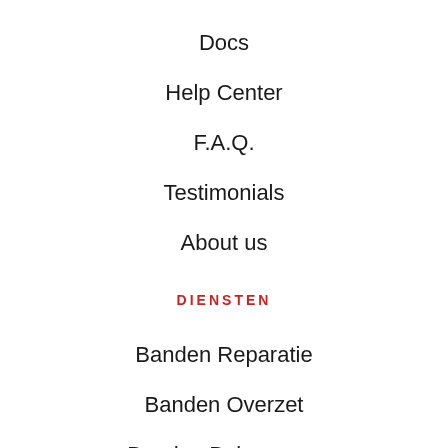Docs
Help Center
F.A.Q.
Testimonials
About us
DIENSTEN
Banden Reparatie
Banden Overzet
Banden Balanceren
Banden Foam Fill
CONTACT